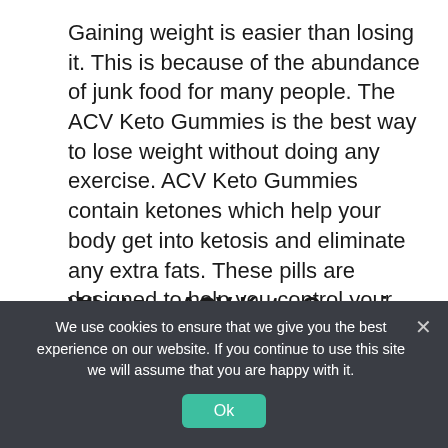Gaining weight is easier than losing it. This is because of the abundance of junk food for many people. The ACV Keto Gummies is the best way to lose weight without doing any exercise. ACV Keto Gummies contain ketones which help your body get into ketosis and eliminate any extra fats. These pills are designed to help you control your hunger cravings and get you to ketosis faster.
What are ACV Keto Gummies and what do they mean?
We use cookies to ensure that we give you the best experience on our website. If you continue to use this site we will assume that you are happy with it.